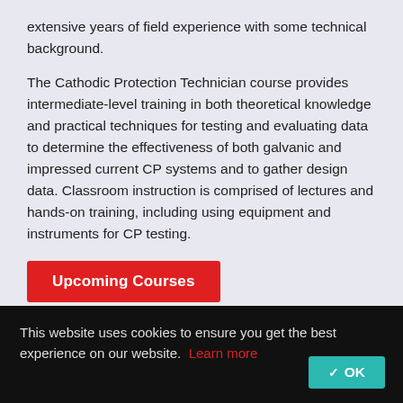extensive years of field experience with some technical background.
The Cathodic Protection Technician course provides intermediate-level training in both theoretical knowledge and practical techniques for testing and evaluating data to determine the effectiveness of both galvanic and impressed current CP systems and to gather design data. Classroom instruction is comprised of lectures and hands-on training, including using equipment and instruments for CP testing.
Upcoming Courses
Who should apply | Course learning objectives
This website uses cookies to ensure you get the best experience on our website. Learn more
OK